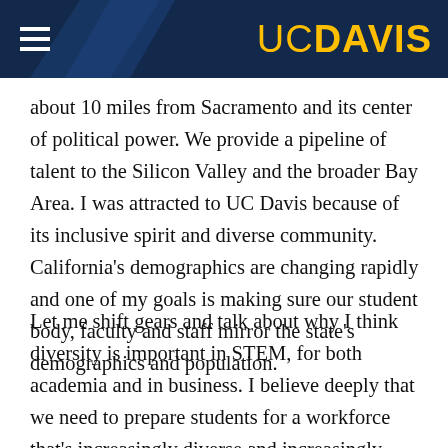UC DAVIS
about 10 miles from Sacramento and its center of political power. We provide a pipeline of talent to the Silicon Valley and the broader Bay Area. I was attracted to UC Davis because of its inclusive spirit and diverse community. California's demographics are changing rapidly and one of my goals is making sure our student body, faculty and staff mirror the state's demographics and population.
Let me shift gears and talk about why I think diversity is important in STEM, for both academia and in business. I believe deeply that we need to prepare students for a workforce that's increasingly diverse and increasingly global. Businesses, laboratories, universities are going to need to fill the shoes of the current workforce. And there's a competitive need to sustain U.S. global